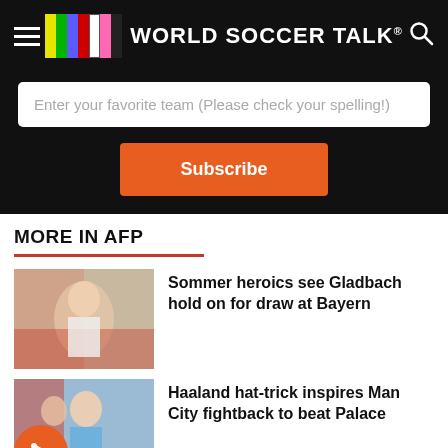World Soccer Talk
Enter your favorite team (Please check your spelling!)
Subscribe
MORE IN AFP
[Figure (photo): Soccer player celebrating, Gladbach vs Bayern match]
Sommer heroics see Gladbach hold on for draw at Bayern
[Figure (photo): Man City player with fist raised, Crystal Palace match]
Haaland hat-trick inspires Man City fightback to beat Palace